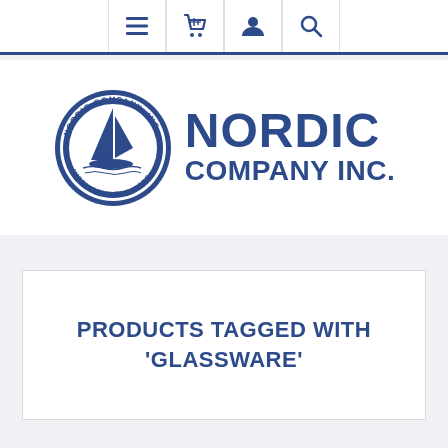[Figure (screenshot): Website navigation bar with hamburger menu, shopping basket, user account, and search icons]
[Figure (logo): Nordic Company Inc. logo — circular seal with sailboat on left and bold text NORDIC COMPANY INC. on right, in navy blue]
PRODUCTS TAGGED WITH 'GLASSWARE'